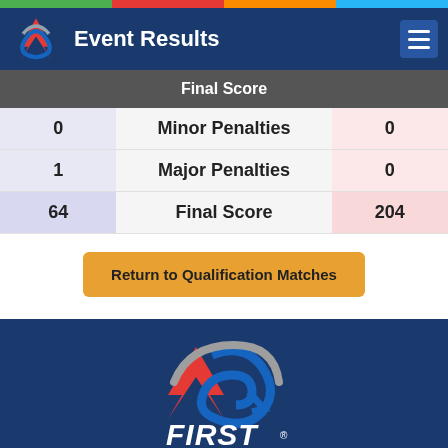Event Results
|  | Final Score |  |
| --- | --- | --- |
| 0 | Minor Penalties | 0 |
| 1 | Major Penalties | 0 |
| 64 | Final Score | 204 |
Return to Qualification Matches
[Figure (logo): FIRST Tech Challenge logo in white on dark blue background]
Copyright © FIRST Tech Challenge Privacy & Legal